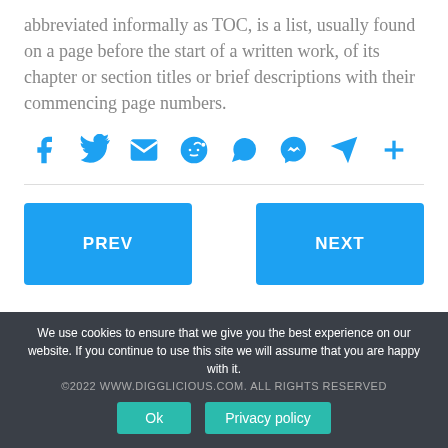abbreviated informally as TOC, is a list, usually found on a page before the start of a written work, of its chapter or section titles or brief descriptions with their commencing page numbers.
[Figure (infographic): Social sharing icons row: Facebook, Twitter, Email, Reddit, WhatsApp, Messenger, Telegram, Share (plus)]
PREV
NEXT
©2022 WWW.DIGGLICIOUS.COM. ALL RIGHTS RESERVED
We use cookies to ensure that we give you the best experience on our website. If you continue to use this site we will assume that you are happy with it.
Ok   Privacy policy